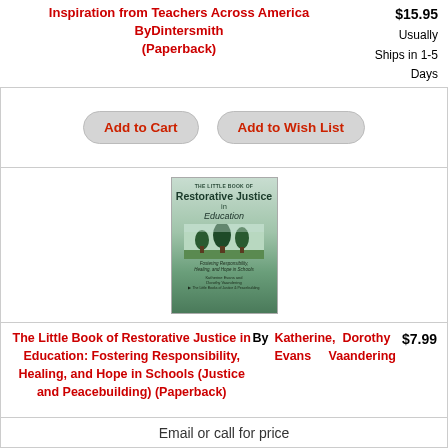Inspiration from Teachers Across America ByDintersmith (Paperback) $15.95 Usually Ships in 1-5 Days
Add to Cart  Add to Wish List
[Figure (illustration): Book cover of The Little Book of Restorative Justice in Education: Fostering Responsibility, Healing, and Hope in Schools by Katherine Evans and Dorothy Vaandering]
The Little Book of Restorative Justice in Education: Fostering Responsibility, Healing, and Hope in Schools (Justice and Peacebuilding) (Paperback)  By Katherine, Dorothy Evans Vaandering $7.99
Email or call for price